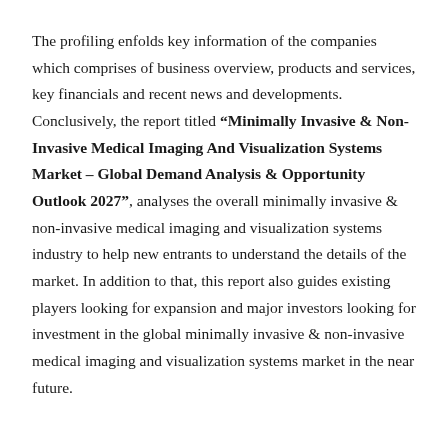The profiling enfolds key information of the companies which comprises of business overview, products and services, key financials and recent news and developments. Conclusively, the report titled "Minimally Invasive & Non-Invasive Medical Imaging And Visualization Systems Market – Global Demand Analysis & Opportunity Outlook 2027", analyses the overall minimally invasive & non-invasive medical imaging and visualization systems industry to help new entrants to understand the details of the market. In addition to that, this report also guides existing players looking for expansion and major investors looking for investment in the global minimally invasive & non-invasive medical imaging and visualization systems market in the near future.